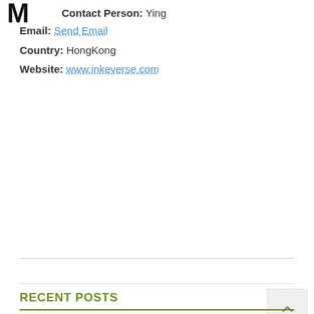Contact Person: Ying
Email: Send Email
Country: HongKong
Website: www.inkeverse.com
RECENT POSTS
Introducing FAMEEX as a New CEX Paradigm and